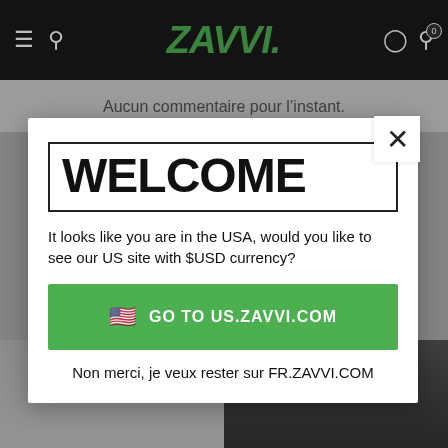ZAVVI
Aucun commentaire pour l’instant.
WELCOME
It looks like you are in the USA, would you like to see our US site with $USD currency?
GO TO US.ZAVVI.COM
Non merci, je veux rester sur FR.ZAVVI.COM
[Figure (screenshot): Two product T-shirt images partially visible at the bottom of the page]